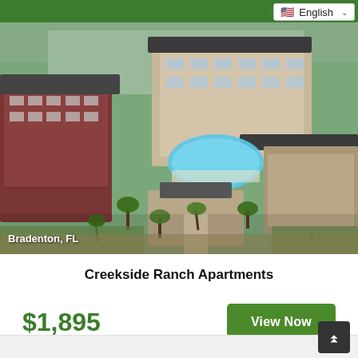English
[Figure (photo): Aerial view of Creekside Ranch Apartments in Bradenton, FL, showing multiple multi-story apartment buildings with dark roofs, a central pool area, palm trees, and surrounding roads and greenery.]
Bradenton, FL
Creekside Ranch Apartments
$1,895
View Now